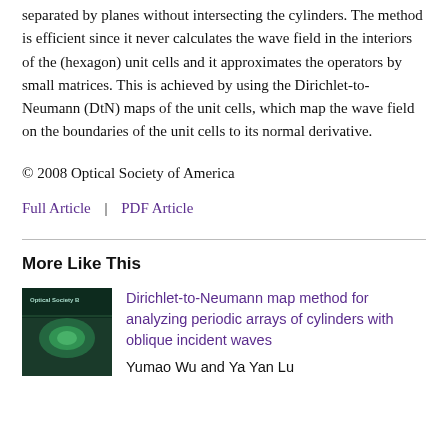separated by planes without intersecting the cylinders. The method is efficient since it never calculates the wave field in the interiors of the (hexagon) unit cells and it approximates the operators by small matrices. This is achieved by using the Dirichlet-to-Neumann (DtN) maps of the unit cells, which map the wave field on the boundaries of the unit cells to its normal derivative.
© 2008 Optical Society of America
Full Article  |  PDF Article
More Like This
[Figure (photo): Journal cover thumbnail showing a dark green/teal colored scientific journal cover with 'Optical Society B' text]
Dirichlet-to-Neumann map method for analyzing periodic arrays of cylinders with oblique incident waves
Yumao Wu and Ya Yan Lu